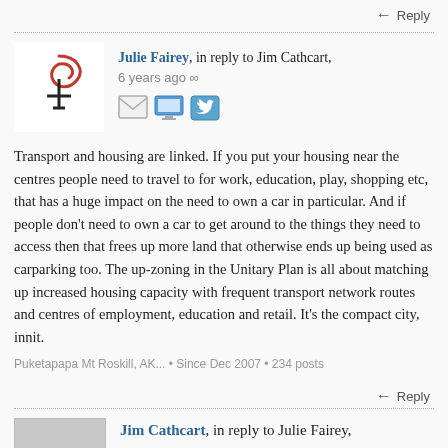Reply
[Figure (screenshot): User avatar for Julie Fairey showing a stylized symbol (resembling a gender/artistic symbol) in black and red on white background]
Julie Fairey, in reply to Jim Cathcart, 6 years ago ∞
[Figure (illustration): Three social sharing icons: email envelope, monitor/computer, and Twitter bird icon]
Transport and housing are linked. If you put your housing near the centres people need to travel to for work, education, play, shopping etc, that has a huge impact on the need to own a car in particular. And if people don't need to own a car to get around to the things they need to access then that frees up more land that otherwise ends up being used as carparking too. The up-zoning in the Unitary Plan is all about matching up increased housing capacity with frequent transport network routes and centres of employment, education and retail. It's the compact city, innit.
Puketapapa Mt Roskill, AK... • Since Dec 2007 • 234 posts
Reply
Jim Cathcart, in reply to Julie Fairey,